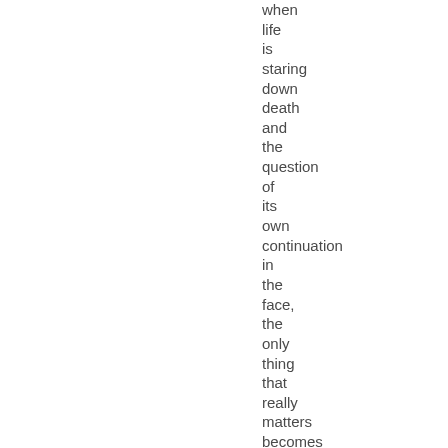when life is staring down death and the question of its own continuation in the face, the only thing that really matters becomes clear — the love